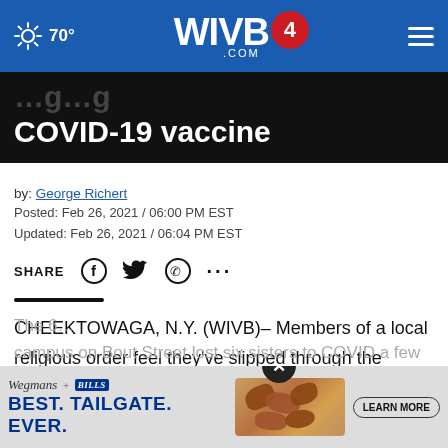WIVB4.com — 70°
COVID-19 vaccine
by: George Richert
Posted: Feb 26, 2021 / 06:00 PM EST
Updated: Feb 26, 2021 / 06:04 PM EST
SHARE
CHEEKTOWAGA, N.Y. (WIVB)– Members of a local religious order feel they've slipped through the cracks in their attempts to get on-site vaccinations
The 6... campus on Bout Street lost six sisters to COVID a few
[Figure (screenshot): Wegmans + Buffalo Bills advertisement: 'BEST. TAILGATE. EVER.' with chicken wings image and LEARN MORE button]